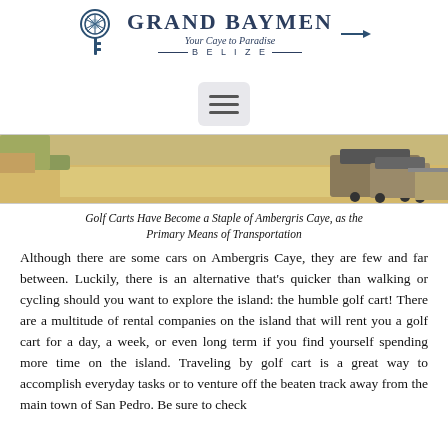GRAND BAYMEN — Your Caye to Paradise, BELIZE
[Figure (logo): Grand Baymen logo with key icon and tagline 'Your Caye to Paradise, BELIZE']
[Figure (photo): Street scene on Ambergris Caye showing golf carts parked along a sandy road with trees and buildings]
Golf Carts Have Become a Staple of Ambergris Caye, as the Primary Means of Transportation
Although there are some cars on Ambergris Caye, they are few and far between. Luckily, there is an alternative that's quicker than walking or cycling should you want to explore the island: the humble golf cart! There are a multitude of rental companies on the island that will rent you a golf cart for a day, a week, or even long term if you find yourself spending more time on the island. Traveling by golf cart is a great way to accomplish everyday tasks or to venture off the beaten track away from the main town of San Pedro. Be sure to check